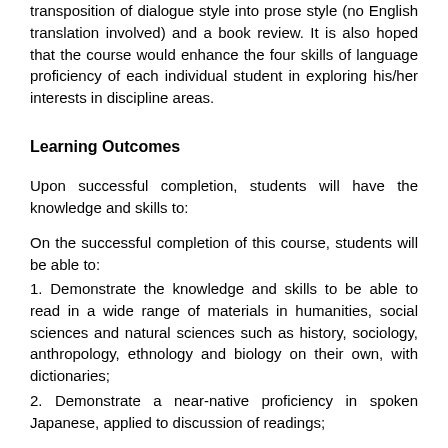transposition of dialogue style into prose style (no English translation involved) and a book review.  It is also hoped that the course would enhance the four skills of language proficiency of each individual student in exploring his/her interests in discipline areas.
Learning Outcomes
Upon successful completion, students will have the knowledge and skills to:
On the successful completion of this course, students will be able to:
1. Demonstrate the knowledge and skills to be able to read in a wide range of materials in humanities, social sciences and natural sciences such as history, sociology, anthropology, ethnology and biology on their own, with dictionaries;
2. Demonstrate a near-native proficiency in spoken Japanese, applied to discussion of readings;